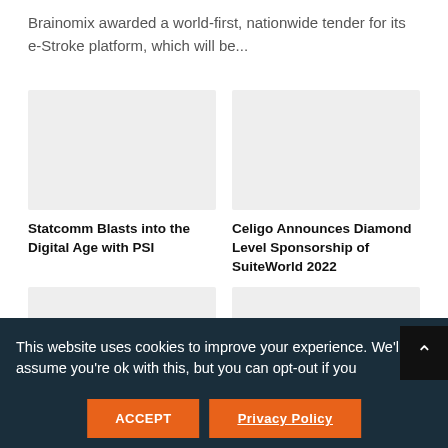Brainomix awarded a world-first, nationwide tender for its e-Stroke platform, which will be...
[Figure (photo): Placeholder image tile for Statcomm article (light gray rectangle)]
Statcomm Blasts into the Digital Age with PSI
[Figure (photo): Placeholder image tile for Celigo article (light gray rectangle)]
Celigo Announces Diamond Level Sponsorship of SuiteWorld 2022
[Figure (photo): Placeholder image tile bottom-left (light gray rectangle)]
[Figure (photo): Placeholder image tile bottom-right (light gray rectangle)]
This website uses cookies to improve your experience. We'll assume you're ok with this, but you can opt-out if you
ACCEPT
Privacy Policy